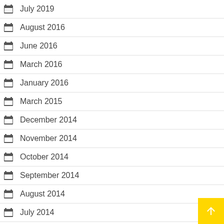July 2019
August 2016
June 2016
March 2016
January 2016
March 2015
December 2014
November 2014
October 2014
September 2014
August 2014
July 2014
June 2014